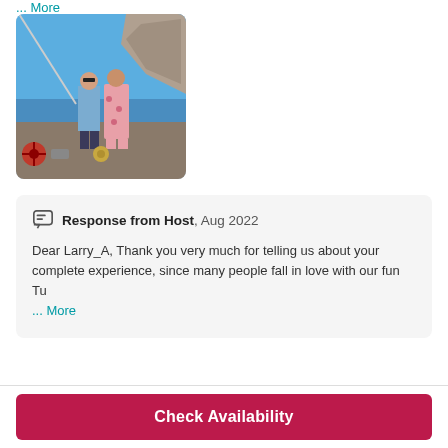... More
[Figure (photo): Two people standing on the deck of a boat with a large rocky formation and blue sea in the background.]
Response from Host, Aug 2022
Dear Larry_A, Thank you very much for telling us about your complete experience, since many people fall in love with our fun Tu
... More
Check Availability